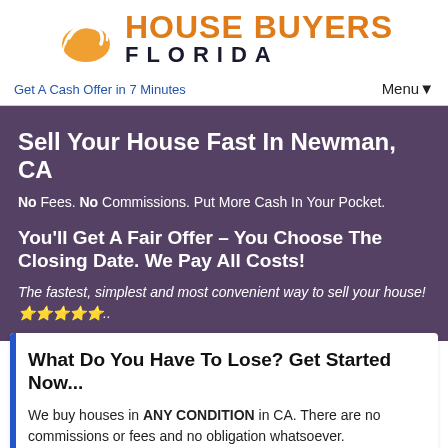[Figure (logo): House Buyers Florida logo with orange swirl/oval icon and company name]
Get A Cash Offer in 7 Minutes
Menu▼
Sell Your House Fast In Newman, CA
No Fees. No Commissions. Put More Cash In Your Pocket.
You'll Get A Fair Offer – You Choose The Closing Date. We Pay All Costs!
The fastest, simplest and most convenient way to sell your house! 🌟🌟🌟🌟🌟..
What Do You Have To Lose? Get Started Now...
We buy houses in ANY CONDITION in CA. There are no commissions or fees and no obligation whatsoever.